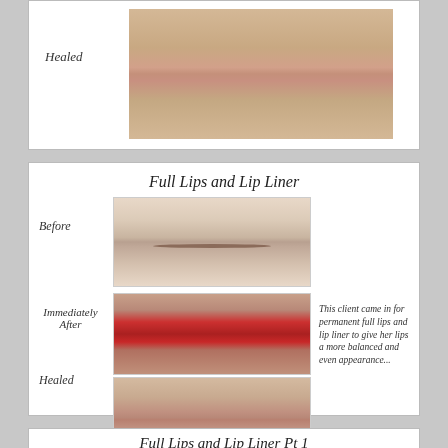Healed
[Figure (photo): Close-up photo of healed lips after permanent makeup procedure (top card, partial view)]
Full Lips and Lip Liner
Before
[Figure (photo): Before photo: lips without permanent makeup, showing uneven appearance]
Immediately After
[Figure (photo): Immediately after photo: lips with fresh permanent makeup showing red/dark coloring]
This client came in for permanent full lips and lip liner to give her lips a more balanced and even appearance...
Healed
[Figure (photo): Healed result photo: lips after permanent makeup has settled]
Full Lips and Lip Liner Pt 1
[Figure (photo): Bottom partial card showing beginning of another lips case photo]